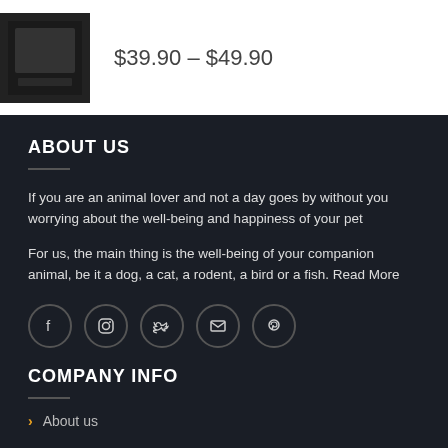$39.90 – $49.90
ABOUT US
If you are an animal lover and not a day goes by without you worrying about the well-being and happiness of your pet
For us, the main thing is the well-being of your companion animal, be it a dog, a cat, a rodent, a bird or a fish. Read More
[Figure (other): Social media icons: Facebook, Instagram, Twitter, Email, Pinterest]
COMPANY INFO
About us